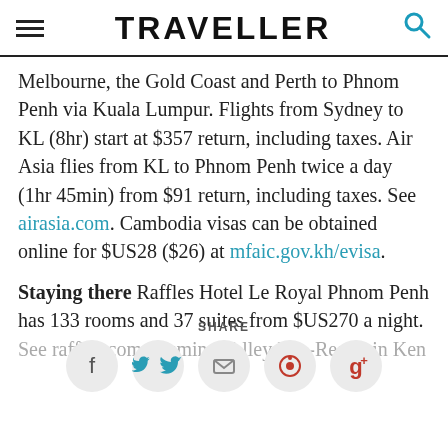TRAVELLER
Melbourne, the Gold Coast and Perth to Phnom Penh via Kuala Lumpur. Flights from Sydney to KL (8hr) start at $357 return, including taxes. Air Asia flies from KL to Phnom Penh twice a day (1hr 45min) from $91 return, including taxes. See airasia.com. Cambodia visas can be obtained online for $US28 ($26) at mfaic.gov.kh/evisa.
Staying there Raffles Hotel Le Royal Phnom Penh has 133 rooms and 37 suites from $US270 a night. See raffles.com. Jasmine Valley Eco-Resort in Ken
SHARE